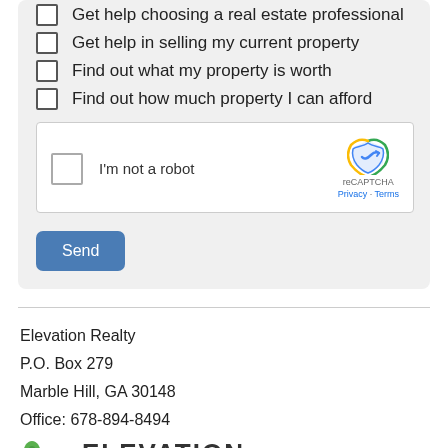Get help choosing a real estate professional
Get help in selling my current property
Find out what my property is worth
Find out how much property I can afford
[Figure (other): reCAPTCHA widget with checkbox labeled 'I'm not a robot' and reCAPTCHA logo with Privacy and Terms links]
Send
Elevation Realty
P.O. Box 279
Marble Hill, GA 30148
Office: 678-894-8494
[Figure (logo): Elevation Realty logo — partial, cut off at bottom]